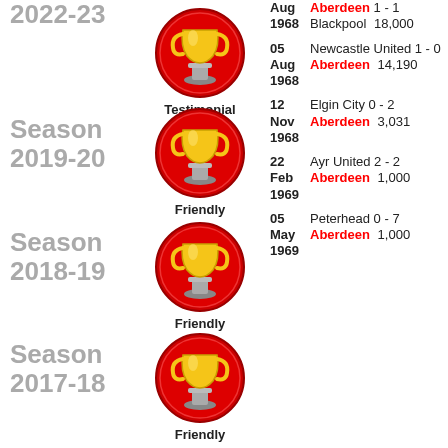2022-23
[Figure (illustration): Red circle with gold trophy icon, Testimonial label]
Season 2019-20
[Figure (illustration): Red circle with gold trophy icon, Friendly label]
Season 2018-19
[Figure (illustration): Red circle with gold trophy icon, Friendly label]
Season 2017-18
[Figure (illustration): Red circle with gold trophy icon, Friendly label]
Season 2016-17
[Figure (illustration): Red circle with gold trophy icon, Friendly label]
Season
| Date | Match | Attendance |
| --- | --- | --- |
| Aug 1968 | Aberdeen 1 - 1 Blackpool | 18,000 |
| 05 Aug 1968 | Newcastle United 1 - 0 Aberdeen | 14,190 |
| 12 Nov 1968 | Elgin City 0 - 2 Aberdeen | 3,031 |
| 22 Feb 1969 | Ayr United 2 - 2 Aberdeen | 1,000 |
| 05 May 1969 | Peterhead 0 - 7 Aberdeen | 1,000 |